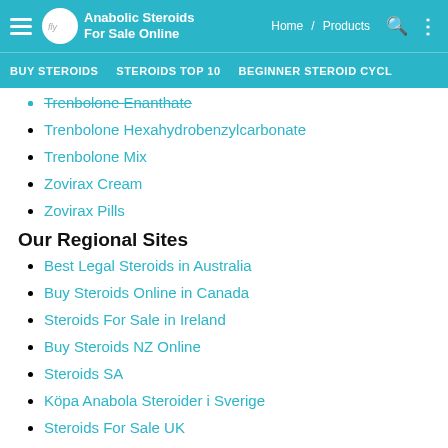Anabolic Steroids For Sale Online — Home / Products
BUY STEROIDS   STEROIDS TOP 10   BEGINNER STEROID CYCL
Trenbolone Enanthate
Trenbolone Hexahydrobenzylcarbonate
Trenbolone Mix
Zovirax Cream
Zovirax Pills
Our Regional Sites
Best Legal Steroids in Australia
Buy Steroids Online in Canada
Steroids For Sale in Ireland
Buy Steroids NZ Online
Steroids SA
Köpa Anabola Steroider i Sverige
Steroids For Sale UK
Achat de stéroïde anabolisant pour la musculation
Anabolen Kopen in Nederland
Steroids Online